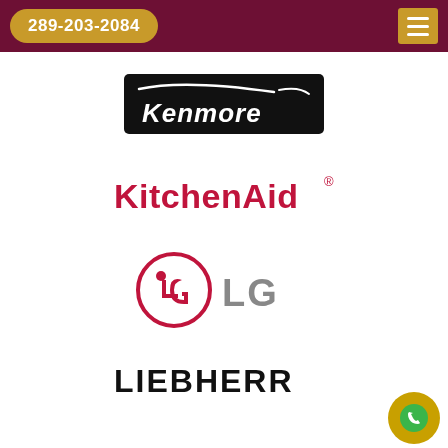289-203-2084
[Figure (logo): Kenmore brand logo — white italic text on black rounded-rectangle background with swoosh graphic]
[Figure (logo): KitchenAid logo in bold red text with registered trademark symbol]
[Figure (logo): LG logo — magenta circle icon with LG text in gray]
[Figure (logo): Liebherr logo — bold uppercase black text, partially visible at bottom of page]